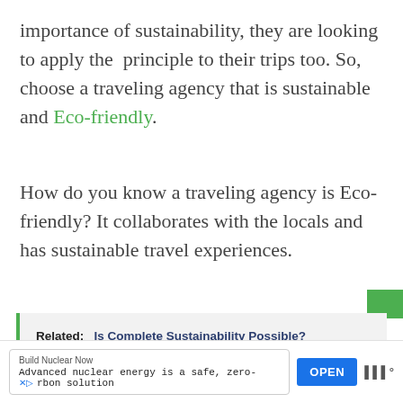importance of sustainability, they are looking to apply the  principle to their trips too. So, choose a traveling agency that is sustainable and Eco-friendly.
How do you know a traveling agency is Eco-friendly? It collaborates with the locals and has sustainable travel experiences.
Related:   Is Complete Sustainability Possible?
[Figure (screenshot): Advertisement banner: 'Build Nuclear Now - Advanced nuclear energy is a safe, zero-carbon solution' with an OPEN button]